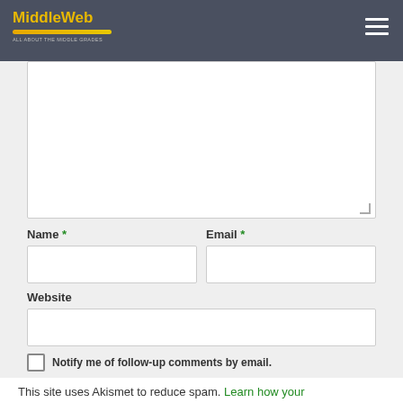MiddleWeb
Name *
Email *
Website
Notify me of follow-up comments by email.
Notify me of new posts by email.
Post Comment
This site uses Akismet to reduce spam. Learn how your